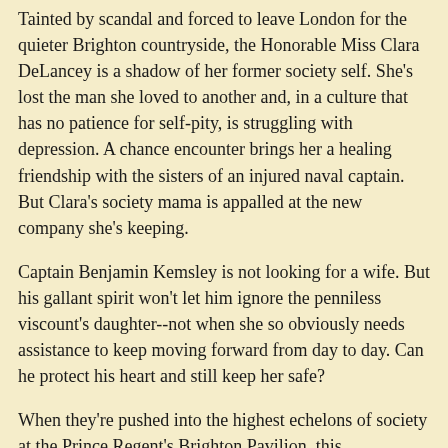Tainted by scandal and forced to leave London for the quieter Brighton countryside, the Honorable Miss Clara DeLancey is a shadow of her former society self. She's lost the man she loved to another and, in a culture that has no patience for self-pity, is struggling with depression. A chance encounter brings her a healing friendship with the sisters of an injured naval captain. But Clara's society mama is appalled at the new company she's keeping.
Captain Benjamin Kemsley is not looking for a wife. But his gallant spirit won't let him ignore the penniless viscount's daughter--not when she so obviously needs assistance to keep moving forward from day to day. Can he protect his heart and still keep her safe?
When they're pushed into the highest echelons of society at the Prince Regent's Brighton Pavilion, this mismatched couple must decide if family honor is more important than their hopes. Can they right the wrongs of the past and find future happiness together--without finances, family support, or royal favor?